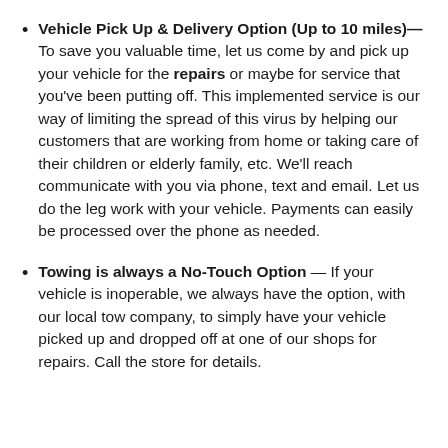Vehicle Pick Up & Delivery Option (Up to 10 miles)—To save you valuable time, let us come by and pick up your vehicle for the repairs or maybe for service that you've been putting off. This implemented service is our way of limiting the spread of this virus by helping our customers that are working from home or taking care of their children or elderly family, etc. We'll reach communicate with you via phone, text and email. Let us do the leg work with your vehicle. Payments can easily be processed over the phone as needed.
Towing is always a No-Touch Option — If your vehicle is inoperable, we always have the option, with our local tow company, to simply have your vehicle picked up and dropped off at one of our shops for repairs. Call the store for details.